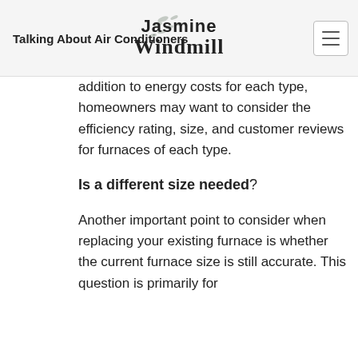Talking About Air Conditioners
addition to energy costs for each type, homeowners may want to consider the efficiency rating, size, and customer reviews for furnaces of each type.
Is a different size needed?
Another important point to consider when replacing your existing furnace is whether the current furnace size is still accurate. This question is primarily for